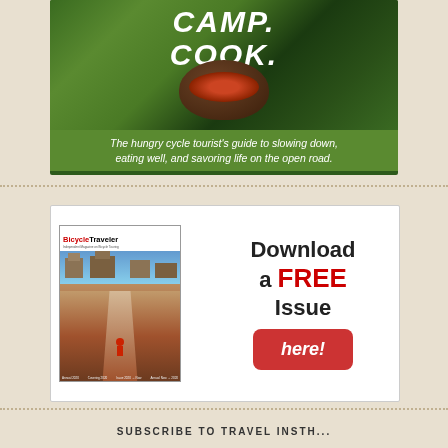[Figure (illustration): Camp Cook advertisement: outdoor cooking pot with food over green background, with text 'CAMP. COOK.' and subtitle 'The hungry cycle tourist's guide to slowing down, eating well, and savoring life on the open road.']
[Figure (illustration): BicycleTraveler magazine advertisement showing magazine cover with cyclist on dirt road and text 'Download a FREE Issue here!' with a red button.]
SUBSCRIBE TO TRAVEL INSTH...